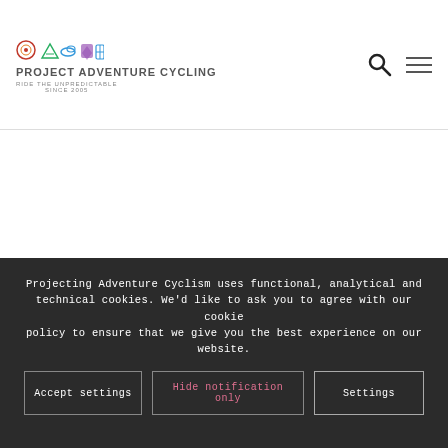[Figure (logo): Project Adventure Cycling logo with colorful icons and text 'PROJECT ADVENTURE CYCLING – Ride the Unpredictable SINCE 2005']
[Figure (other): Search icon (magnifying glass) and hamburger menu icon in the header]
Projecting Adventure Cyclism uses functional, analytical and technical cookies. We'd like to ask you to agree with our cookie policy to ensure that we give you the best experience on our website.
Accept settings
Hide notification only
Settings